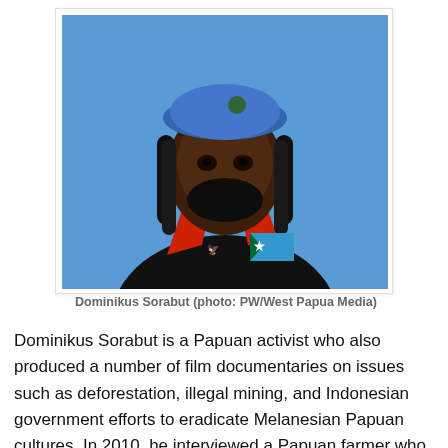[Figure (photo): Portrait photo of Dominikus Sorabut, a Papuan man wearing a blue beret and black jacket with red accents. He has dreadlocks and a beard. A West Papua flag patch is visible on his jacket. The background is blue.]
Dominikus Sorabut (photo: PW/West Papua Media)
Dominikus Sorabut is a Papuan activist who also produced a number of film documentaries on issues such as deforestation, illegal mining, and Indonesian government efforts to eradicate Melanesian Papuan cultures. In 2010, he interviewed a Papuan farmer who was tortured by Indonesian soldiers, helping to provide